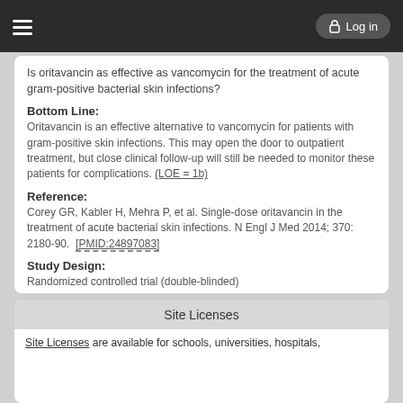Log in
Is oritavancin as effective as vancomycin for the treatment of acute gram-positive bacterial skin infections?
Bottom Line:
Oritavancin is an effective alternative to vancomycin for patients with gram-positive skin infections. This may open the door to outpatient treatment, but close clinical follow-up will still be needed to monitor these patients for complications. (LOE = 1b)
Reference:
Corey GR, Kabler H, Mehra P, et al. Single-dose oritavancin in the treatment of acute bacterial skin infections. N Engl J Med 2014; 370: 2180-90. [PMID:24897083]
Study Design:
Randomized controlled trial (double-blinded)
Funding:
Industry
Setting:
Inpatient (any location)
Site Licenses
Site Licenses are available for schools, universities, hospitals,